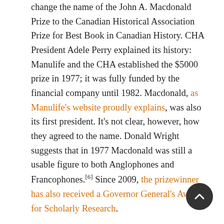change the name of the John A. Macdonald Prize to the Canadian Historical Association Prize for Best Book in Canadian History. CHA President Adele Perry explained its history: Manulife and the CHA established the $5000 prize in 1977; it was fully funded by the financial company until 1982. Macdonald, as Manulife's website proudly explains, was also its first president. It's not clear, however, how they agreed to the name. Donald Wright suggests that in 1977 Macdonald was still a usable figure to both Anglophones and Francophones.[6] Since 2009, the prizewinner has also received a Governor General's Award for Scholarly Research.
There was surprisingly little discussion of the difference between history and commemoration